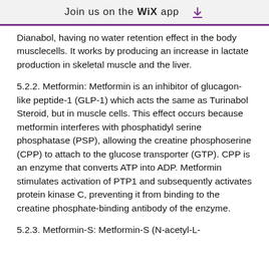Join us on the WiX app
Dianabol, having no water retention effect in the body musclecells. It works by producing an increase in lactate production in skeletal muscle and the liver.
5.2.2. Metformin: Metformin is an inhibitor of glucagon-like peptide-1 (GLP-1) which acts the same as Turinabol Steroid, but in muscle cells. This effect occurs because metformin interferes with phosphatidyl serine phosphatase (PSP), allowing the creatine phosphoserine (CPP) to attach to the glucose transporter (GTP). CPP is an enzyme that converts ATP into ADP. Metformin stimulates activation of PTP1 and subsequently activates protein kinase C, preventing it from binding to the creatine phosphate-binding antibody of the enzyme.
5.2.3. Metformin-S: Metformin-S (N-acetyl-L-